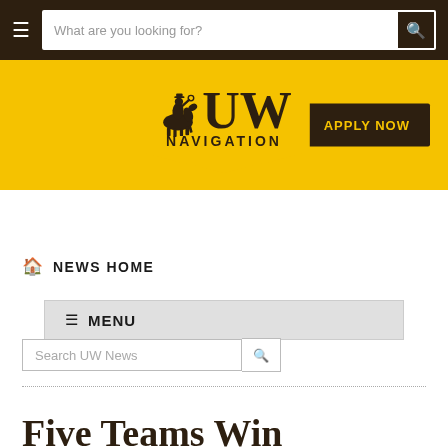University of Wyoming navigation header with search bar
[Figure (logo): University of Wyoming logo with cowboy on bucking horse and UW text, shield shape with NAVIGATION label below, on gold/yellow background. APPLY NOW button to the right.]
NEWS HOME
≡ MENU
Search UW News
Five Teams Win